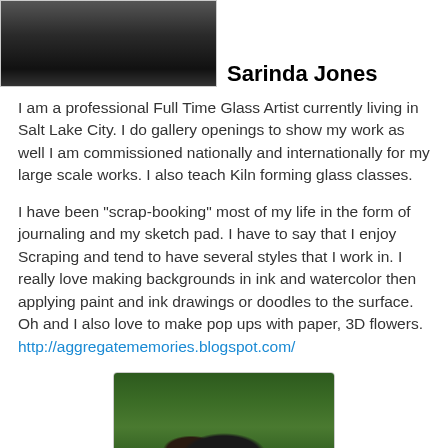[Figure (photo): Black and white photo of a person, cropped, top portion visible]
Sarinda Jones
I am a professional Full Time Glass Artist currently living in Salt Lake City. I do gallery openings to show my work as well I am commissioned nationally and internationally for my large scale works. I also teach Kiln forming glass classes.
I have been "scrap-booking" most of my life in the form of journaling and my sketch pad. I have to say that I enjoy Scraping and tend to have several styles that I work in. I really love making backgrounds in ink and watercolor then applying paint and ink drawings or doodles to the surface. Oh and I also love to make pop ups with paper, 3D flowers.
http://aggregatememories.blogspot.com/
[Figure (photo): Photo of a person with dark hair outdoors among green foliage]